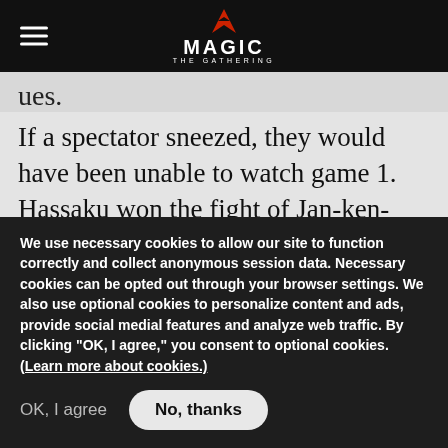Magic: The Gathering navigation bar with hamburger menu and logo
ues.
If a spectator sneezed, they would have been unable to watch game 1. Hassaku won the fight of Jan-ken-pon, slashing his scissors through Ishida's flimsy paper. Hassaku let a faint smirk leak from his poker face as he led with an unkicked Kavu Titan followed by a Blurred Mongoose. Ishida Repulsed the Titan and
We use necessary cookies to allow our site to function correctly and collect anonymous session data. Necessary cookies can be opted out through your browser settings. We also use optional cookies to personalize content and ads, provide social medial features and analyze web traffic. By clicking "OK, I agree," you consent to optional cookies. (Learn more about cookies.)
OK, I agree
No, thanks